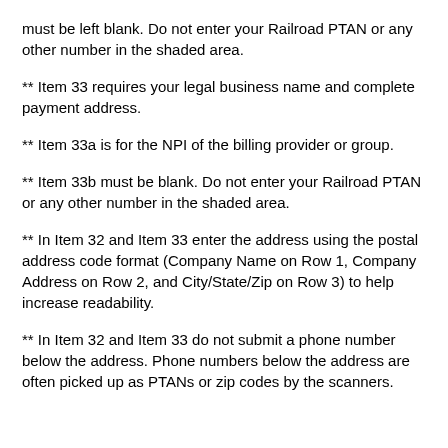must be left blank. Do not enter your Railroad PTAN or any other number in the shaded area.
** Item 33 requires your legal business name and complete payment address.
** Item 33a is for the NPI of the billing provider or group.
** Item 33b must be blank. Do not enter your Railroad PTAN or any other number in the shaded area.
** In Item 32 and Item 33 enter the address using the postal address code format (Company Name on Row 1, Company Address on Row 2, and City/State/Zip on Row 3) to help increase readability.
** In Item 32 and Item 33 do not submit a phone number below the address. Phone numbers below the address are often picked up as PTANs or zip codes by the scanners.